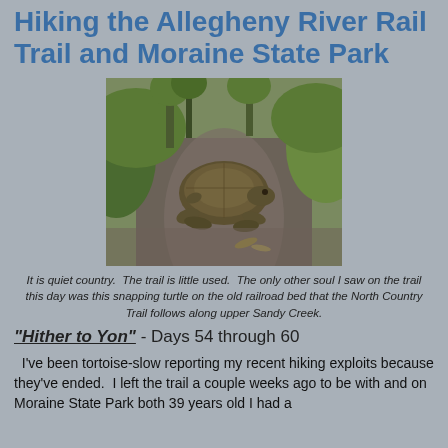Hiking the Allegheny River Rail Trail and Moraine State Park
[Figure (photo): A snapping turtle on a gravel railroad bed trail surrounded by greenery and trees in the background.]
It is quiet country.  The trail is little used.  The only other soul I saw on the trail this day was this snapping turtle on the old railroad bed that the North Country Trail follows along upper Sandy Creek.
"Hither to Yon" - Days 54 through 60
I've been tortoise-slow reporting my recent hiking exploits because they've ended.  I left the trail a couple weeks ago to be with and on Moraine State Park both 39 years old I had a